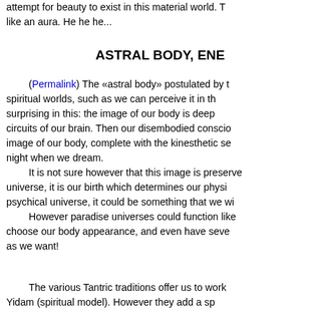attempt for beauty to exist in this material world. T like an aura. He he he...
ASTRAL BODY, ENE
(Permalink) The «astral body» postulated by t spiritual worlds, such as we can perceive it in th surprising in this: the image of our body is deep circuits of our brain. Then our disembodied consci image of our body, complete with the kinesthetic s night when we dream.
    It is not sure however that this image is preserv universe, it is our birth which determines our physi psychical universe, it could be something that we w
    However paradise universes could function lik choose our body appearance, and even have sev as we want!
The various Tantric traditions offer us to work Yidam (spiritual model). However they add a sp